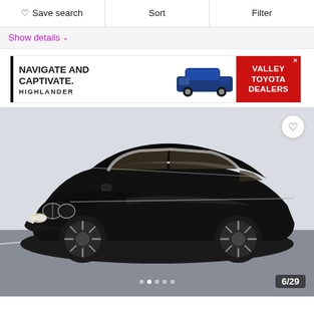♡ Save search   Sort   Filter
Show details ∨
[Figure (photo): Toyota Highlander advertisement banner: 'NAVIGATE AND CAPTIVATE. HIGHLANDER' with blue Toyota Highlander SUV image and red Valley Toyota Dealers badge]
[Figure (photo): Black BMW 5 Series sedan photographed in a parking lot against a white wall, three-quarter front view, with alloy wheels. Photo counter shows 6/29 with dot indicators below.]